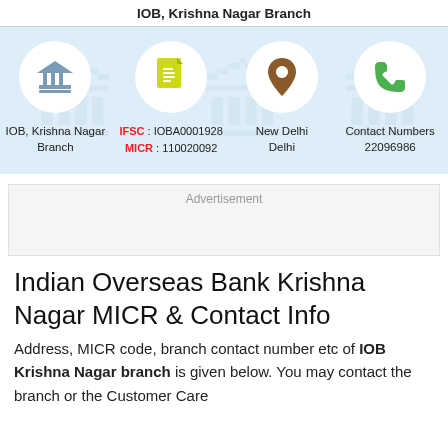IOB, Krishna Nagar Branch
[Figure (infographic): Four icon columns in a light blue band: bank icon (IOB, Krishna Nagar Branch), document icon (IFSC: IOBA0001928, MICR: 110020092), location pin icon (New Delhi, Delhi), phone icon (Contact Numbers 22096986)]
Advertisement
Indian Overseas Bank Krishna Nagar MICR & Contact Info
Address, MICR code, branch contact number etc of IOB Krishna Nagar branch is given below. You may contact the branch or the Customer Care